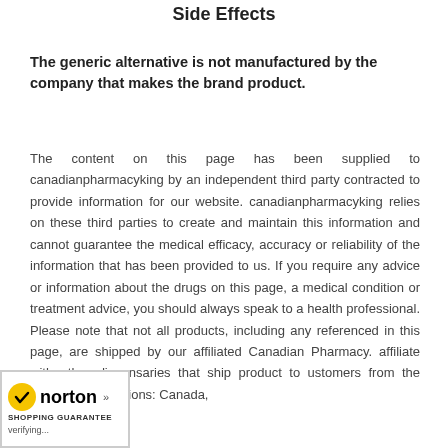Side Effects
The generic alternative is not manufactured by the company that makes the brand product.
The content on this page has been supplied to canadianpharmacyking by an independent third party contracted to provide information for our website. canadianpharmacyking relies on these third parties to create and maintain this information and cannot guarantee the medical efficacy, accuracy or reliability of the information that has been provided to us. If you require any advice or information about the drugs on this page, a medical condition or treatment advice, you should always speak to a health professional. Please note that not all products, including any referenced in this page, are shipped by our affiliated Canadian Pharmacy. affiliate with other dispensaries that ship product to ustomers from the following jurisdictions: Canada,
[Figure (logo): Norton Shopping Guarantee badge with yellow checkmark logo, 'norton' text in bold, and 'SHOPPING GUARANTEE' subtext with 'verifying...' below]